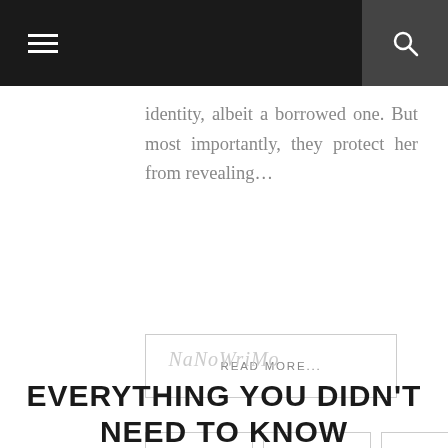[Navigation bar with hamburger menu and search icon]
identity, albeit a borrowed one. But most importantly, they protect her from revealing...
READ MORE...
[Figure (other): Social media sharing icons: Facebook (f), Twitter (bird), Pinterest (p), Google+ (g+), Comment (speech bubble)]
NaNoWriMo
EVERYTHING YOU DIDN'T NEED TO KNOW